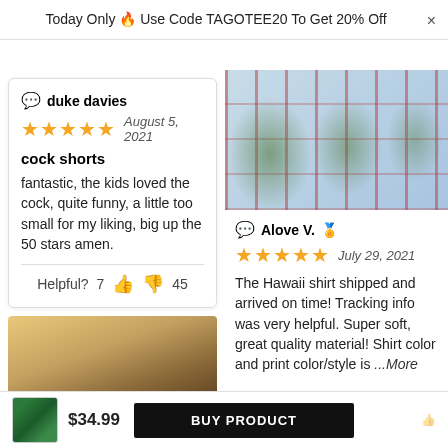Today Only 🔥 Use Code TAGOTEE20 To Get 20% Off
duke davies
★★★★★  August 5, 2021
cock shorts
fantastic, the kids loved the cock, quite funny, a little too small for my liking, big up the 50 stars amen.
Helpful? 7 👍 👎 45
[Figure (photo): Product photo of Hawaiian shirt with Texas flag and bluebonnet flower pattern]
Alove V. 🏅
★★★★★  July 29, 2021
The Hawaii shirt shipped and arrived on time! Tracking info was very helpful. Super soft, great quality material! Shirt color and print color/style is ...More
[Figure (photo): Partial photo of a room interior, tan/brown tones]
[Figure (photo): Small product thumbnail of green Hawaiian shirt]
$34.99
BUY PRODUCT